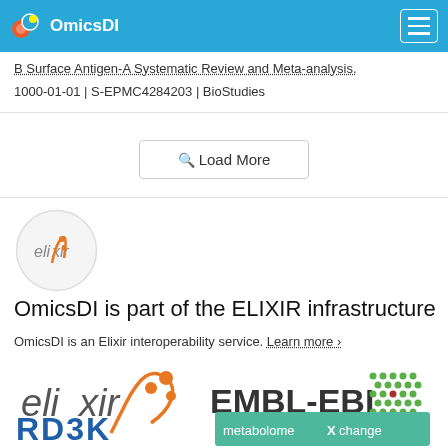OmicsDI
B Surface Antigen-A Systematic Review and Meta-analysis. 1000-01-01 | S-EPMC4284203 | BioStudies
Load More
[Figure (logo): ELIXIR logo - small circular badge]
OmicsDI is part of the ELIXIR infrastructure
OmicsDI is an Elixir interoperability service. Learn more ›
[Figure (logo): ELIXIR large logo with orange strand graphic and orange dots]
[Figure (logo): EMBL-EBI logo with green hexagonal dot pattern]
[Figure (logo): RD3K logo in blue stylized text]
[Figure (logo): metabolomexchange logo in teal/green]